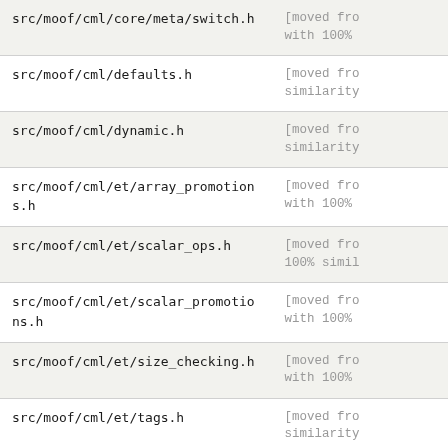| File | Status |
| --- | --- |
| src/moof/cml/core/meta/switch.h | [moved fro...
with 100% |
| src/moof/cml/defaults.h | [moved fro...
similarity |
| src/moof/cml/dynamic.h | [moved fro...
similarity |
| src/moof/cml/et/array_promotions.h | [moved fro...
with 100% |
| src/moof/cml/et/scalar_ops.h | [moved fro...
100% simil |
| src/moof/cml/et/scalar_promotions.h | [moved fro...
with 100% |
| src/moof/cml/et/size_checking.h | [moved fro...
with 100% |
| src/moof/cml/et/tags.h | [moved fro...
similarity |
| src/moof/cml/et/traits.h | [moved fro...
similarity |